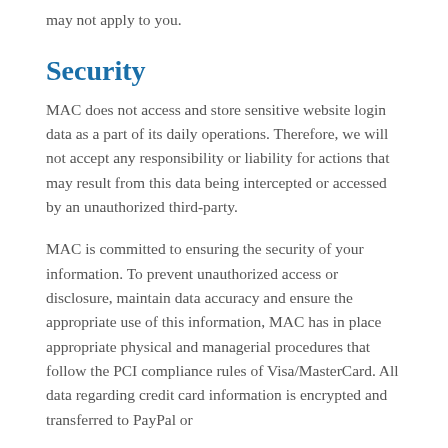may not apply to you.
Security
MAC does not access and store sensitive website login data as a part of its daily operations. Therefore, we will not accept any responsibility or liability for actions that may result from this data being intercepted or accessed by an unauthorized third-party.
MAC is committed to ensuring the security of your information. To prevent unauthorized access or disclosure, maintain data accuracy and ensure the appropriate use of this information, MAC has in place appropriate physical and managerial procedures that follow the PCI compliance rules of Visa/MasterCard. All data regarding credit card information is encrypted and transferred to PayPal or